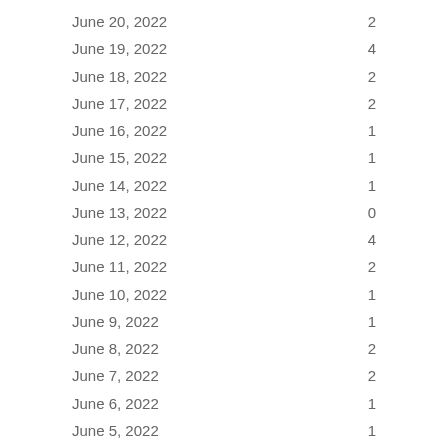| Date | Value |
| --- | --- |
| June 20, 2022 | 2 |
| June 19, 2022 | 4 |
| June 18, 2022 | 2 |
| June 17, 2022 | 2 |
| June 16, 2022 | 1 |
| June 15, 2022 | 1 |
| June 14, 2022 | 1 |
| June 13, 2022 | 0 |
| June 12, 2022 | 4 |
| June 11, 2022 | 2 |
| June 10, 2022 | 1 |
| June 9, 2022 | 1 |
| June 8, 2022 | 2 |
| June 7, 2022 | 2 |
| June 6, 2022 | 1 |
| June 5, 2022 | 1 |
| June 4, 2022 | 1 |
| June 3, 2022 | 4 |
| June 2, 2022 | 1 |
| June 1, 2022 | 0 |
| May 31, 2022 | 0 |
| May 30, 2022 | 0 |
| May 29, 2022 | 1 |